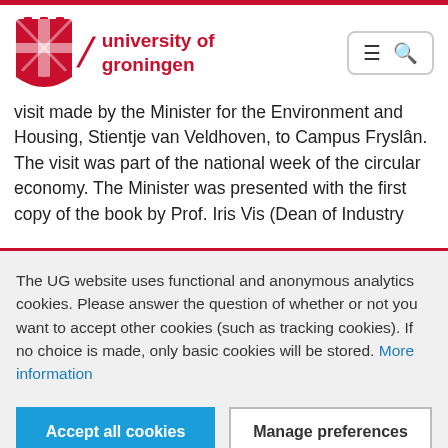university of groningen
visit made by the Minister for the Environment and Housing, Stientje van Veldhoven, to Campus Fryslân. The visit was part of the national week of the circular economy. The Minister was presented with the first copy of the book by Prof. Iris Vis (Dean of Industry
The UG website uses functional and anonymous analytics cookies. Please answer the question of whether or not you want to accept other cookies (such as tracking cookies). If no choice is made, only basic cookies will be stored. More information
Accept all cookies
Manage preferences